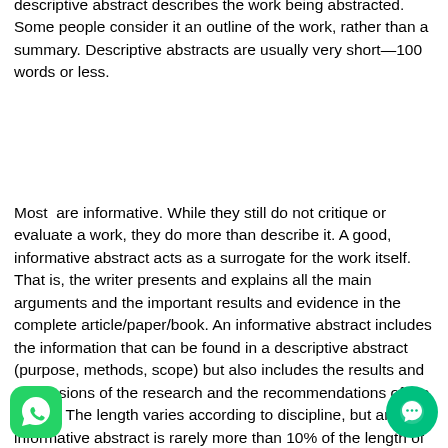descriptive abstract describes the work being abstracted. Some people consider it an outline of the work, rather than a summary. Descriptive abstracts are usually very short—100 words or less.
Most  are informative. While they still do not critique or evaluate a work, they do more than describe it. A good, informative abstract acts as a surrogate for the work itself. That is, the writer presents and explains all the main arguments and the important results and evidence in the complete article/paper/book. An informative abstract includes the information that can be found in a descriptive abstract (purpose, methods, scope) but also includes the results and conclusions of the research and the recommendations of the author. The length varies according to discipline, but an informative abstract is rarely more than 10% of the length of the entire work. In the case of a longer work, it may be much